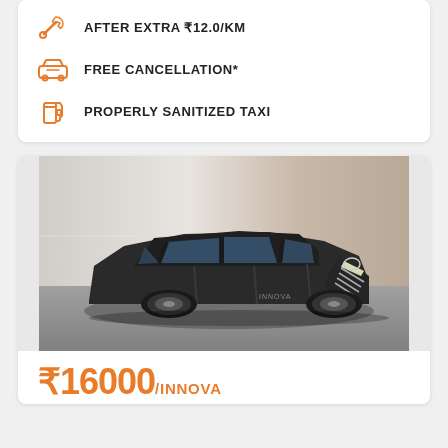AFTER EXTRA ₹12.0/KM
FREE CANCELLATION*
PROPERLY SANITIZED TAXI
[Figure (photo): Black Toyota Innova Crysta SUV/MPV in motion on road, front three-quarter view]
₹16000/INNOVA